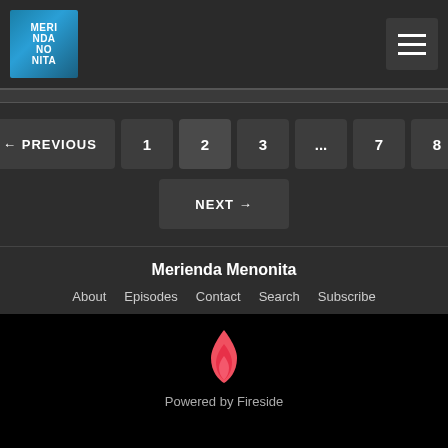Merienda Menonita — Navigation header with logo and hamburger menu
← PREVIOUS
1
2
3
...
7
8
NEXT →
Merienda Menonita
About   Episodes   Contact   Search   Subscribe
Powered by Fireside